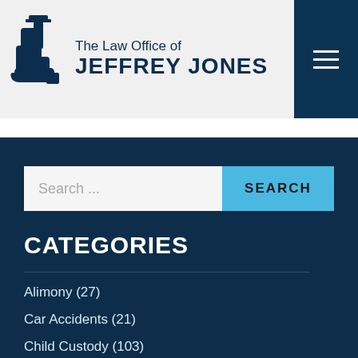[Figure (logo): The Law Office of Jeffrey Jones logo with boot icon]
Search ...
CATEGORIES
Alimony (27)
Car Accidents (21)
Child Custody (103)
Criminal Defense (21)